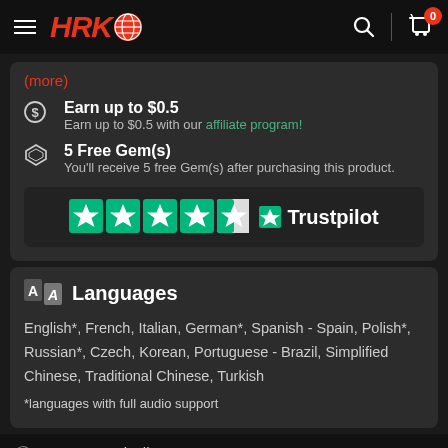HRK Shop navigation header with logo, search and cart
(more)
Earn up to $0.5 — Earn up to $0.5 with our affiliate program!
5 Free Gem(s) — You'll receive 5 free Gem(s) after purchasing this product.
[Figure (other): Trustpilot rating widget showing approximately 4.5 stars out of 5]
Languages
English*, French, Italian, German*, Spanish - Spain, Polish*, Russian*, Czech, Korean, Portuguese - Brazil, Simplified Chinese, Traditional Chinese, Turkish
*languages with full audio support
You automatically agree to our Details and terms and conditions by — HRK Live Support